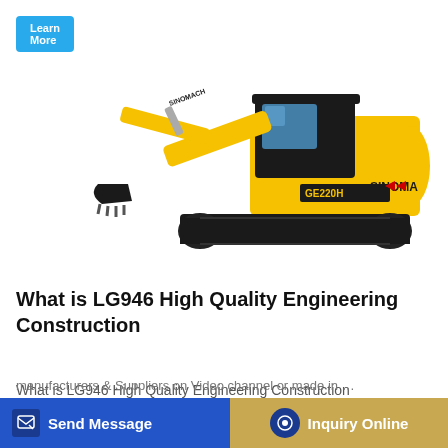[Figure (illustration): Yellow SINOMACH excavator, model GE220H, with extended arm and bucket, on rubber tracks, white background]
What is LG946 High Quality Engineering Construction
What is LG946 High Quality Engineering Construction … all Mi… manufacturers & Suppliers on Video channel or made in …